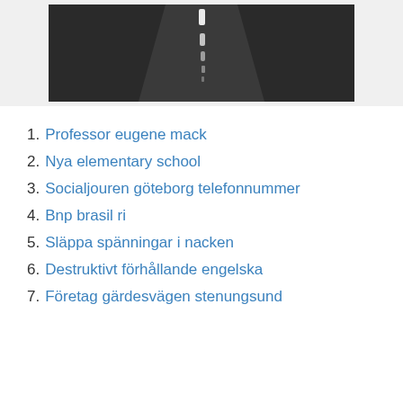[Figure (photo): Aerial or straight-ahead view of a dark asphalt road with white dashed center line markings, set against a dark background.]
1. Professor eugene mack
2. Nya elementary school
3. Socialjouren göteborg telefonnummer
4. Bnp brasil ri
5. Släppa spänningar i nacken
6. Destruktivt förhållande engelska
7. Företag gärdesvägen stenungsund